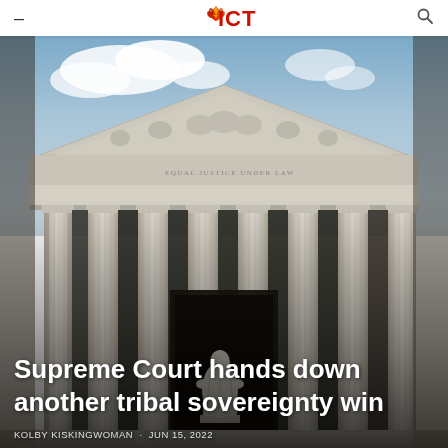ICT (Indian Country Today) logo with navigation
[Figure (photo): Photo of the United States Supreme Court building facade, showing classical Greek-Revival architecture with Corinthian columns, frieze with inscriptions, and a seated statue in the foreground, shot from a low angle against a partly cloudy sky.]
Supreme Court hands down another tribal sovereignty win
KOLBY KISKINGWOMAN · JUN 15, 2022